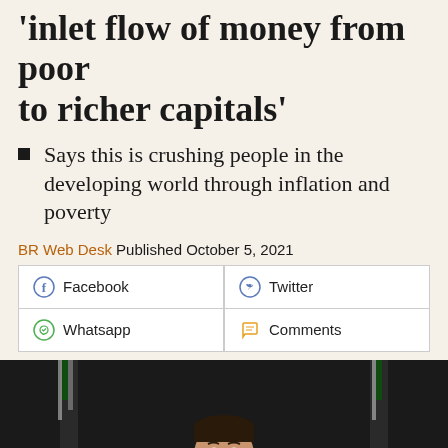inlet flow of money from poor to richer capitals'
Says this is crushing people in the developing world through inflation and poverty
BR Web Desk Published October 5, 2021
Facebook | Twitter | Whatsapp | Comments
[Figure (photo): A man in a dark suit speaking at a podium with Pakistani flags in the background, dark background, professional setting]